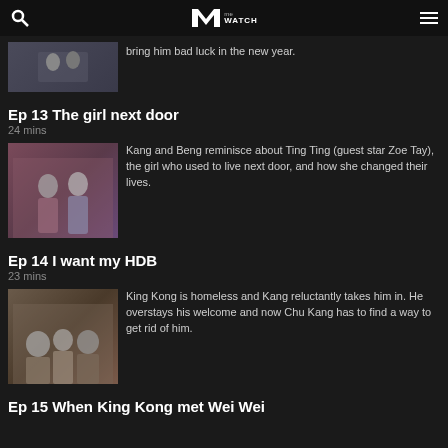meWATCH
bring him bad luck in the new year.
Ep 13 The girl next door
24 mins
[Figure (photo): Two men talking and smiling, sitting in what appears to be a living room set with pink walls and decorations.]
Kang and Beng reminisce about Ting Ting (guest star Zoe Tay), the girl who used to live next door, and how she changed their lives.
Ep 14 I want my HDB
23 mins
[Figure (photo): Three people sitting on a sofa in a living room, appears to be a family scene with pink walls.]
King Kong is homeless and Kang reluctantly takes him in. He overstays his welcome and now Chu Kang has to find a way to get rid of him.
Ep 15 When King Kong met Wei Wei